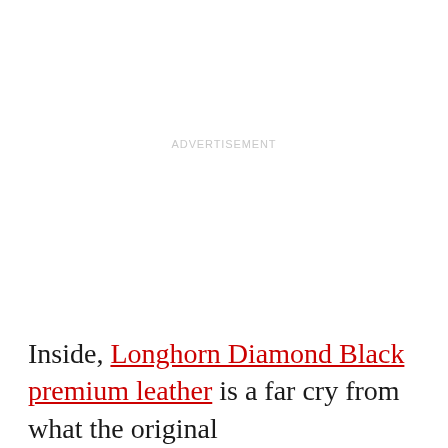ADVERTISEMENT
Inside, Longhorn Diamond Black premium leather is a far cry from what the original